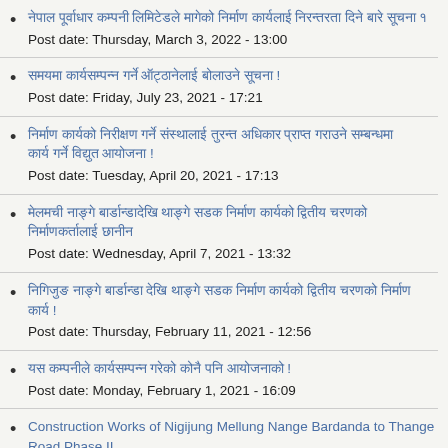[Nepali text link]
Post date: Thursday, March 3, 2022 - 13:00
[Nepali text link]
Post date: Friday, July 23, 2021 - 17:21
[Nepali text link]
Post date: Tuesday, April 20, 2021 - 17:13
[Nepali text link]
Post date: Wednesday, April 7, 2021 - 13:32
[Nepali text link]
Post date: Thursday, February 11, 2021 - 12:56
[Nepali text link]
Post date: Monday, February 1, 2021 - 16:09
Construction Works of Nigijung Mellung Nange Bardanda to Thange Road Phase II
Post date: Monday, December 14, 2020 - 16:54
[Nepali text link]